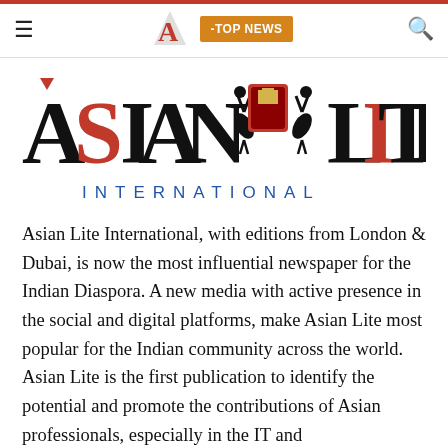≡  [Asian Lite Logo]  -TOP NEWS  🔍
[Figure (logo): Asian Lite International logo with large bold text 'ASIAN LITE' and decorative crest in the middle, 'INTERNATIONAL' in spaced blue capitals below]
Asian Lite International, with editions from London & Dubai, is now the most influential newspaper for the Indian Diaspora. A new media with active presence in the social and digital platforms, make Asian Lite most popular for the Indian community across the world. Asian Lite is the first publication to identify the potential and promote the contributions of Asian professionals, especially in the IT and